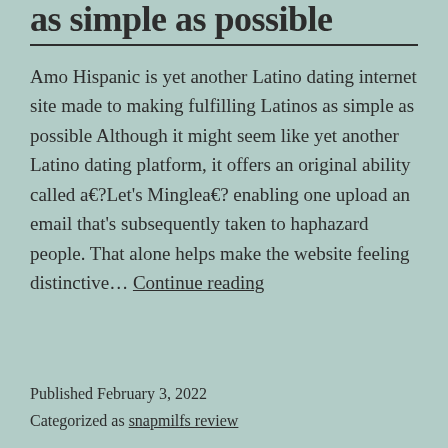as simple as possible
Amo Hispanic is yet another Latino dating internet site made to making fulfilling Latinos as simple as possible Although it might seem like yet another Latino dating platform, it offers an original ability called a€?Let’s Minglea€? enabling one upload an email that’s subsequently taken to haphazard people. That alone helps make the website feeling distinctive… Continue reading
Published February 3, 2022
Categorized as snapmilfs review